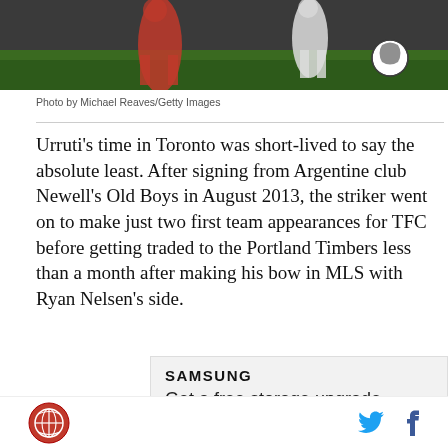[Figure (photo): Soccer/football action photo showing players in red and white kits with a soccer ball, taken from a low angle on a green pitch]
Photo by Michael Reaves/Getty Images
Urruti’s time in Toronto was short-lived to say the absolute least. After signing from Argentine club Newell’s Old Boys in August 2013, the striker went on to make just two first team appearances for TFC before getting traded to the Portland Timbers less than a month after making his bow in MLS with Ryan Nelsen’s side.
[Figure (other): Samsung advertisement: Samsung logo and text 'Get a free storage upgrade']
SB Nation logo | Twitter icon | Facebook icon